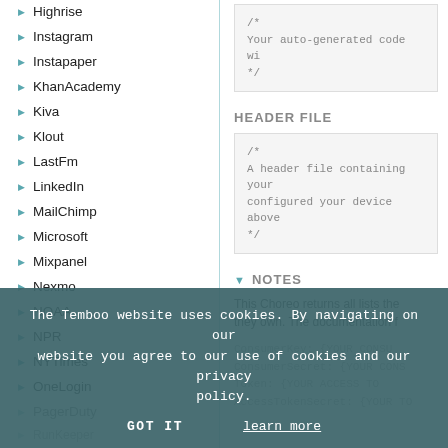Highrise
Instagram
Instapaper
KhanAcademy
Kiva
Klout
LastFm
LinkedIn
MailChimp
Microsoft
Mixpanel
Nexmo
NOAA
NPR
NYTimes
OneLogin
PagerDuty
RunKeeper
Salesforce
SendGrid
Socrata
/* Your auto-generated code wi */
HEADER FILE
/* A header file containing your configured your device above */
NOTES
This Choreo returns all lists the they own. The documentation f
ConsumerKey: {YOUR CONSU ConsumerSecret: {YOUR CONS Token: {YOUR ACCESS TO AccessTokenSecret: {YOUR TO
The Temboo website uses cookies. By navigating on our website you agree to our use of cookies and our privacy policy.